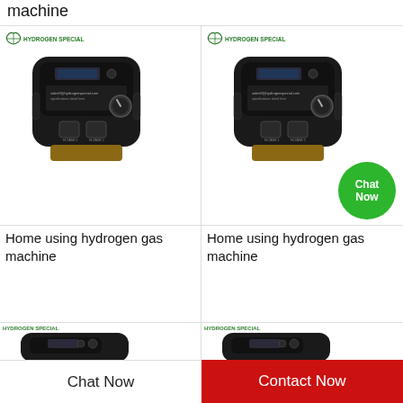machine
[Figure (photo): Home using hydrogen gas machine product photo, top view, black device with gauge and connectors, Hydrogen Special logo]
Home using hydrogen gas machine
[Figure (photo): Home using hydrogen gas machine product photo, top view, black device with gauge and connectors, Hydrogen Special logo, Chat Now green button overlay]
Home using hydrogen gas machine
[Figure (photo): Partial view of hydrogen gas machine product, Hydrogen Special logo visible]
[Figure (photo): Partial view of hydrogen gas machine product, Hydrogen Special logo visible]
Chat Now   Contact Now